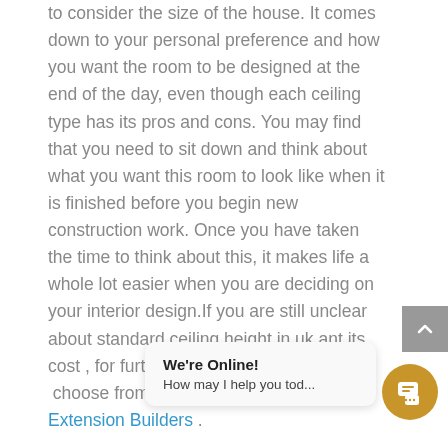to consider the size of the house. It comes down to your personal preference and how you want the room to be designed at the end of the day, even though each ceiling type has its pros and cons. You may find that you need to sit down and think about what you want this room to look like when it is finished before you begin new construction work. Once you have taken the time to think about this, it makes life a whole lot easier when you are deciding on your interior design.If you are still unclear about standard ceiling height in uk ant its cost , for further assistance you can  choose from a crew of expert Home Extension Builders .
We're Online! How may I help you tod...